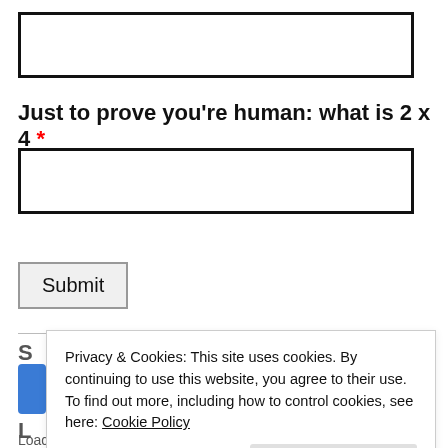[Figure (other): Empty text input box with thick black border]
Just to prove you're human: what is 2 x 4 *
[Figure (other): Empty text input box with thick black border for answer]
Submit
Privacy & Cookies: This site uses cookies. By continuing to use this website, you agree to their use.
To find out more, including how to control cookies, see here: Cookie Policy
Close and accept
Loading...